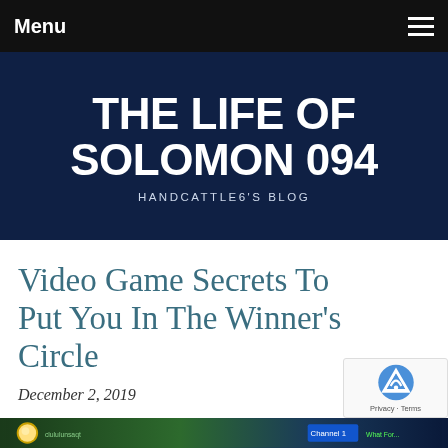Menu
THE LIFE OF SOLOMON 094
HANDCATTLE6'S BLOG
Video Game Secrets To Put You In The Winner's Circle
December 2, 2019
[Figure (screenshot): Bottom strip of a video game screenshot showing game UI elements with green foliage, a golden circle icon, channel indicator, and green text overlay]